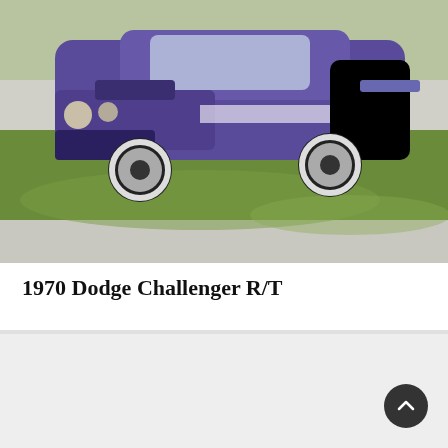[Figure (photo): A purple 1970 Dodge Challenger R/T parked on a road with green grass in the background]
1970 Dodge Challenger R/T
[Figure (photo): Partially visible light gray image at the bottom of the page, possibly showing another car or detail]
[Figure (other): Dark circular scroll-to-top button with an upward chevron arrow in the bottom right corner]